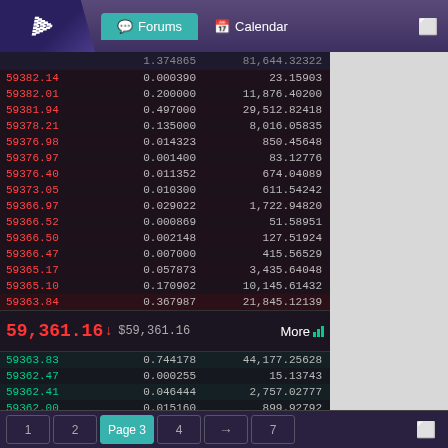Forums | Calendar
| Price | Amount | Total |
| --- | --- | --- |
|  | 1.374865 | 81,644.32322 |
| 59382.14 | 0.000390 | 23.15903 |
| 59382.01 | 0.200000 | 11,876.40200 |
| 59381.94 | 0.497000 | 29,512.82418 |
| 59378.21 | 0.135000 | 8,016.05835 |
| 59376.98 | 0.014323 | 850.45648 |
| 59376.97 | 0.001400 | 83.12776 |
| 59376.40 | 0.011352 | 674.04089 |
| 59373.05 | 0.010300 | 611.54242 |
| 59366.97 | 0.029022 | 1,722.94820 |
| 59366.52 | 0.000869 | 51.58951 |
| 59366.50 | 0.002148 | 127.51924 |
| 59366.47 | 0.007000 | 415.56529 |
| 59365.17 | 0.057873 | 3,435.64048 |
| 59365.10 | 0.170902 | 10,145.61432 |
| 59363.84 | 0.367987 | 21,845.12139 |
59,361.16 ↓ $59,361.16   More ▌▌▌
| Price | Amount | Total |
| --- | --- | --- |
| 59363.83 | 0.744178 | 44,177.25628 |
| 59362.47 | 0.000255 | 15.13743 |
| 59362.41 | 0.046444 | 2,757.02777 |
| 59362.00 | 0.015160 | 899.92792 |
| 59359.02 | 0.030132 | 1,788.60599 |
| 59356.03 | 0.050938 | 3,023.47746 |
| 59356.02 | 0.400000 | 23,742.40800 |
1  2  Page 3  4  →  7